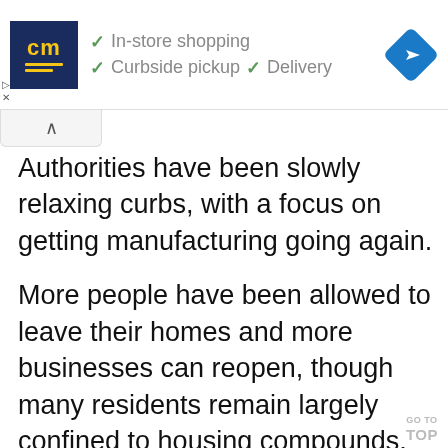[Figure (screenshot): Advertisement banner for a store with 'cm' logo showing In-store shopping, Curbside pickup, and Delivery options, with a navigation diamond icon on the right]
Authorities have been slowly relaxing curbs, with a focus on getting manufacturing going again.
More people have been allowed to leave their homes and more businesses can reopen, though many residents remain largely confined to housing compounds, and most shops are only open for delivery service.
GO TO TOP